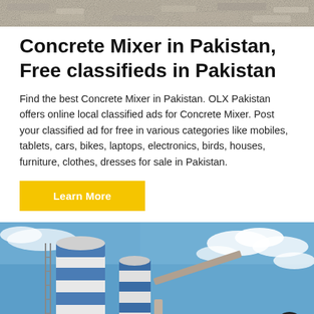[Figure (photo): Top banner image showing concrete or gravel texture surface, cropped at the top of the page.]
Concrete Mixer in Pakistan, Free classifieds in Pakistan
Find the best Concrete Mixer in Pakistan. OLX Pakistan offers online local classified ads for Concrete Mixer. Post your classified ad for free in various categories like mobiles, tablets, cars, bikes, laptops, electronics, birds, houses, furniture, clothes, dresses for sale in Pakistan.
Learn More
[Figure (photo): Photo of an industrial concrete mixing plant with blue and white cylindrical silos, construction equipment, against a blue sky with clouds.]